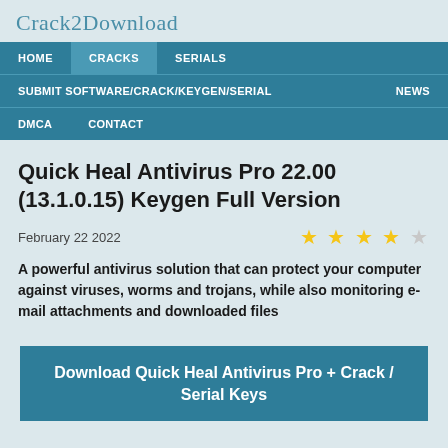Crack2Download
HOME | CRACKS | SERIALS | SUBMIT SOFTWARE/CRACK/KEYGEN/SERIAL | NEWS | DMCA | CONTACT
Quick Heal Antivirus Pro 22.00 (13.1.0.15) Keygen Full Version
February 22 2022
A powerful antivirus solution that can protect your computer against viruses, worms and trojans, while also monitoring e-mail attachments and downloaded files
Download Quick Heal Antivirus Pro + Crack / Serial Keys